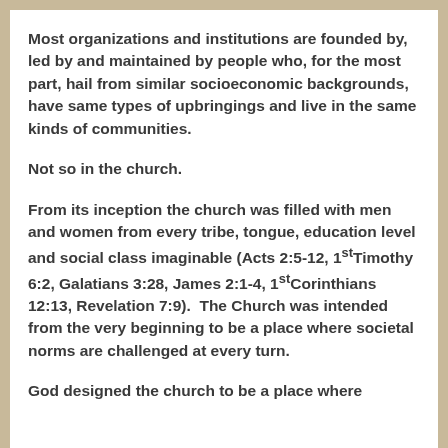Most organizations and institutions are founded by, led by and maintained by people who, for the most part, hail from similar socioeconomic backgrounds, have same types of upbringings and live in the same kinds of communities.
Not so in the church.
From its inception the church was filled with men and women from every tribe, tongue, education level and social class imaginable (Acts 2:5-12, 1stTimothy 6:2, Galatians 3:28, James 2:1-4, 1stCorinthians 12:13, Revelation 7:9).  The Church was intended from the very beginning to be a place where societal norms are challenged at every turn.
God designed the church to be a place where